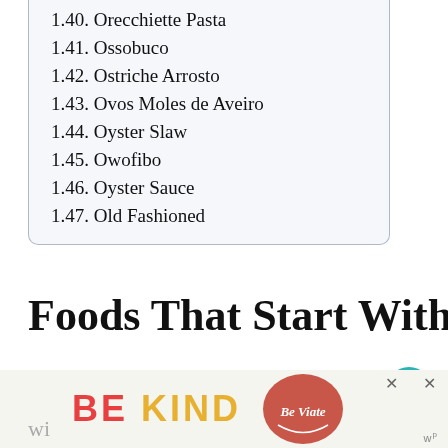1.40. Orecchiette Pasta
1.41. Ossobuco
1.42. Ostriche Arrosto
1.43. Ovos Moles de Aveiro
1.44. Oyster Slaw
1.45. Owofibo
1.46. Oyster Sauce
1.47. Old Fashioned
Foods That Start With O
Here is the list of foods that start with the letter O. Can you name a few without checking the list? There are so many foods that start wi...